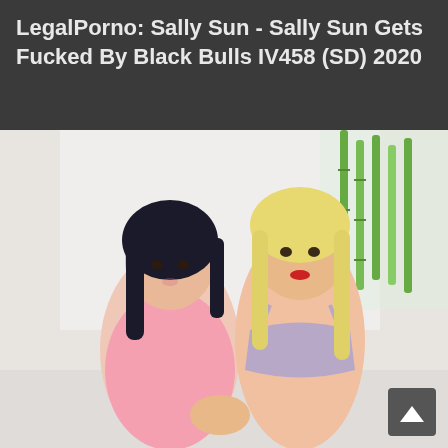LegalPorno: Sally Sun - Sally Sun Gets Fucked By Black Bulls IV458 (SD) 2020
[Figure (photo): Two young women posing together against a white background with green bamboo plant visible. Left woman has dark hair and wears a pink top. Right woman has blonde hair and wears a purple/grey lace bra. A scroll-to-top button is visible in the bottom right corner.]